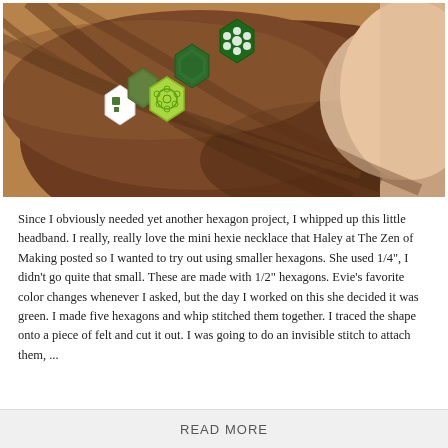[Figure (photo): Close-up photo of a person's hair with a DIY hexagon headband made from green patterned fabric hexagons in various shades and prints of green]
Since I obviously needed yet another hexagon project, I whipped up this little headband. I really, really love the mini hexie necklace that Haley at The Zen of Making posted so I wanted to try out using smaller hexagons. She used 1/4", I didn't go quite that small. These are made with 1/2" hexagons. Evie's favorite color changes whenever I asked, but the day I worked on this she decided it was green. I made five hexagons and whip stitched them together. I traced the shape onto a piece of felt and cut it out. I was going to do an invisible stitch to attach them, ...
READ MORE